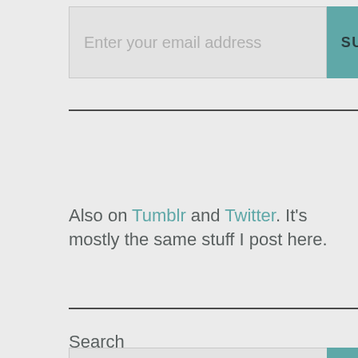[Figure (screenshot): Email subscription input box with placeholder text 'Enter your email address' and a teal 'SUBSCRIBE' button]
Also on Tumblr and Twitter. It's mostly the same stuff I post here.
Search